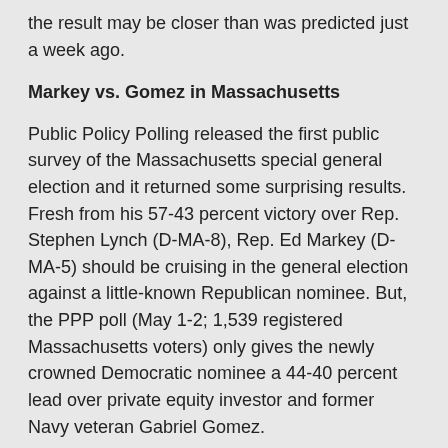the result may be closer than was predicted just a week ago.
Markey vs. Gomez in Massachusetts
Public Policy Polling released the first public survey of the Massachusetts special general election and it returned some surprising results. Fresh from his 57-43 percent victory over Rep. Stephen Lynch (D-MA-8), Rep. Ed Markey (D-MA-5) should be cruising in the general election against a little-known Republican nominee. But, the PPP poll (May 1-2; 1,539 registered Massachusetts voters) only gives the newly crowned Democratic nominee a 44-40 percent lead over private equity investor and former Navy veteran Gabriel Gomez.
The poll is a quick brushfire, begun just a day